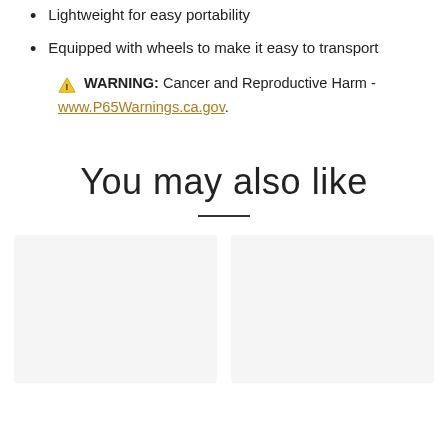Lightweight for easy portability
Equipped with wheels to make it easy to transport
⚠ WARNING: Cancer and Reproductive Harm - www.P65Warnings.ca.gov.
You may also like
[Figure (other): Two product image placeholder boxes side by side with light gray background]